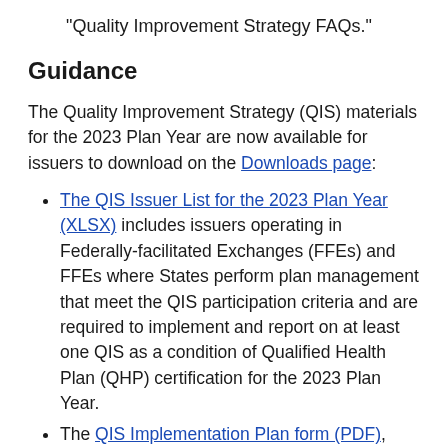“Quality Improvement Strategy FAQs.”
Guidance
The Quality Improvement Strategy (QIS) materials for the 2023 Plan Year are now available for issuers to download on the Downloads page:
The QIS Issuer List for the 2023 Plan Year (XLSX) includes issuers operating in Federally-facilitated Exchanges (FFEs) and FFEs where States perform plan management that meet the QIS participation criteria and are required to implement and report on at least one QIS as a condition of Qualified Health Plan (QHP) certification for the 2023 Plan Year.
The QIS Implementation Plan form (PDF),